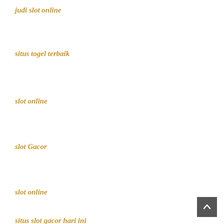judi slot online
situs togel terbaik
slot online
slot Gacor
slot online
situs slot gacor hari ini